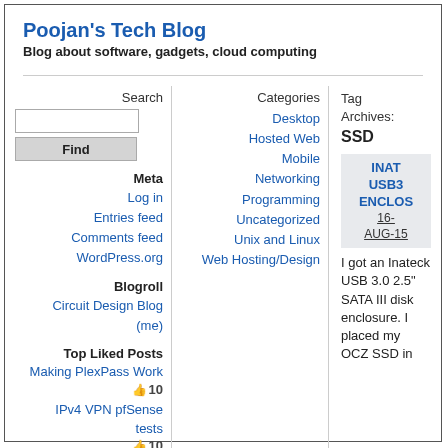Poojan's Tech Blog
Blog about software, gadgets, cloud computing
Search
Find
Meta
Log in
Entries feed
Comments feed
WordPress.org
Blogroll
Circuit Design Blog (me)
Top Liked Posts
Making PlexPass Work 👍 10
IPv4 VPN pfSense tests 👍 10
Categories
Desktop
Hosted Web
Mobile
Networking
Programming
Uncategorized
Unix and Linux
Web Hosting/Design
Tag Archives:
SSD
INAT USB3 ENCLOS
16-AUG-15
I got an Inateck USB 3.0 2.5" SATA III disk enclosure. I placed my OCZ SSD in